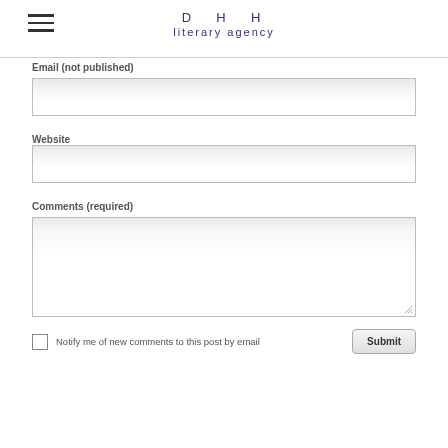DHH literary agency
Email (not published)
Website
Comments (required)
Notify me of new comments to this post by email